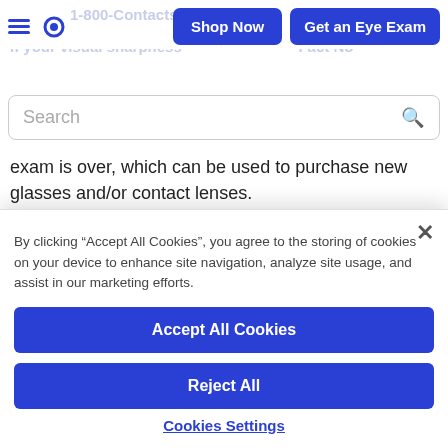[Figure (screenshot): Website navigation header with hamburger menu, eye logo icon, Shop Now button, and Get an Eye Exam button in blue]
[Figure (screenshot): Search bar with placeholder text 'Search' and magnifying glass icon]
exam is over, which can be used to purchase new glasses and/or contact lenses.
Keep in mind that you'll need a membership to purchase
By clicking “Accept All Cookies”, you agree to the storing of cookies on your device to enhance site navigation, analyze site usage, and assist in our marketing efforts.
Accept All Cookies
Reject All
Cookies Settings